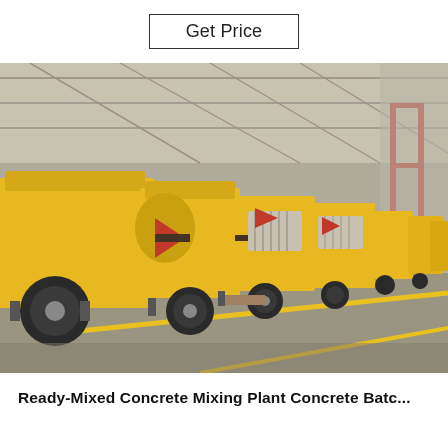Get Price
[Figure (photo): Rows of yellow concrete pump machines lined up inside a large industrial warehouse. The machines have wheels and are parked on a concrete floor with yellow lane markings. The warehouse has a high ceiling with exposed steel beams and skylights.]
Ready-Mixed Concrete Mixing Plant Concrete Batc...